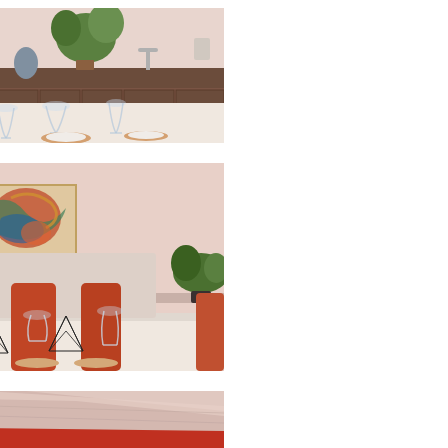[Figure (photo): Interior dining area with a set table featuring wine glasses, geometric wire lanterns, white plates on wooden chargers, plants and a dark wood kitchen counter/cabinetry in the background. Warm pink/rose toned lighting.]
[Figure (photo): Restaurant dining room with white walls, a colorful abstract painting hanging on the wall, a long white table set with wine glasses and wire geometric centerpieces, orange/terracotta upholstered chairs, and a green plant near right side. Pink/rose toned lighting.]
[Figure (photo): Close-up partial view of a dining booth or banquette seating with orange/red upholstery at an angle, pink/rose toned background. Only a fragment visible at bottom of page.]